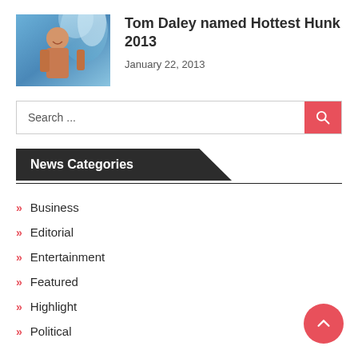[Figure (photo): Photo of Tom Daley, a young man at what appears to be a swimming venue with water splashing in the background]
Tom Daley named Hottest Hunk 2013
January 22, 2013
Search ...
News Categories
Business
Editorial
Entertainment
Featured
Highlight
Political